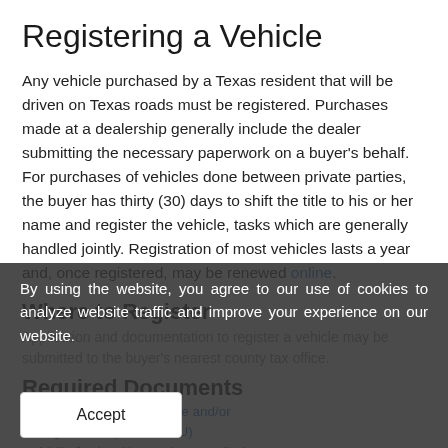Registering a Vehicle
Any vehicle purchased by a Texas resident that will be driven on Texas roads must be registered. Purchases made at a dealership generally include the dealer submitting the necessary paperwork on a buyer's behalf. For purchases of vehicles done between private parties, the buyer has thirty (30) days to shift the title to his or her name and register the vehicle, tasks which are generally handled jointly. Registration of most vehicles lasts a year and, once registered, may be renewed online.
Where to Register
Application and documentation to register a vehicle may be submitted to the buyer's nearest county tax office.
Required Documents
Application for Texas Title and/or Registration (Form 130-U)
A bill of sale with an odometer disclosure...
By using the website, you agree to our use of cookies to analyze website traffic and improve your experience on our website.